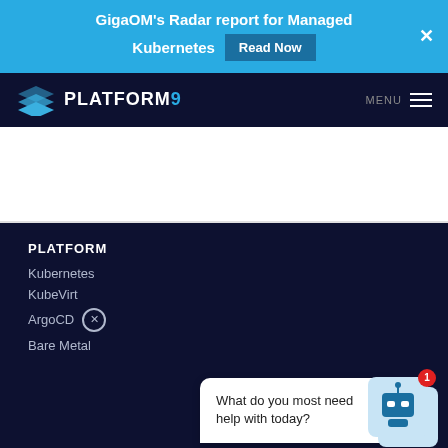GigaOM's Radar report for Managed Kubernetes  Read Now  ×
[Figure (logo): Platform9 logo with stacked diamond icon and PLATFORM9 text]
MENU
PLATFORM
Kubernetes
KubeVirt
ArgoCD
Bare Metal
What do you most need help with today?